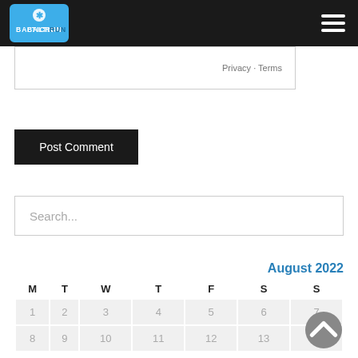[Figure (logo): Baltic Run logo with snowflake icon in blue box on dark header bar, with hamburger menu icon on right]
Privacy · Terms
Post Comment
Search...
| M | T | W | T | F | S | S |
| --- | --- | --- | --- | --- | --- | --- |
| 1 | 2 | 3 | 4 | 5 | 6 | 7 |
| 8 | 9 | 10 | 11 | 12 | 13 | 14 |